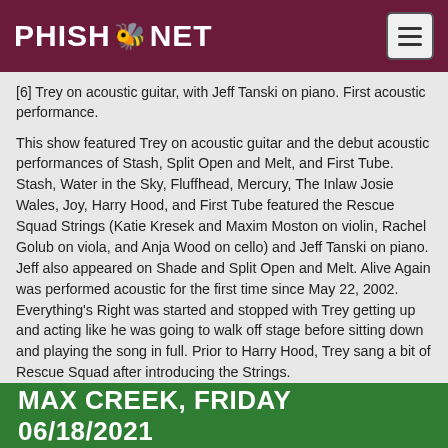PHISH.NET
[6] Trey on acoustic guitar, with Jeff Tanski on piano. First acoustic performance.
This show featured Trey on acoustic guitar and the debut acoustic performances of Stash, Split Open and Melt, and First Tube. Stash, Water in the Sky, Fluffhead, Mercury, The Inlaw Josie Wales, Joy, Harry Hood, and First Tube featured the Rescue Squad Strings (Katie Kresek and Maxim Moston on violin, Rachel Golub on viola, and Anja Wood on cello) and Jeff Tanski on piano. Jeff also appeared on Shade and Split Open and Melt. Alive Again was performed acoustic for the first time since May 22, 2002. Everything's Right was started and stopped with Trey getting up and acting like he was going to walk off stage before sitting down and playing the song in full. Prior to Harry Hood, Trey sang a bit of Rescue Squad after introducing the Strings.
MAX CREEK, FRIDAY 06/18/2021